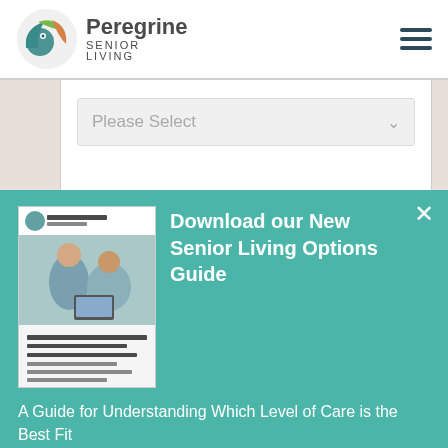[Figure (logo): Peregrine Senior Living logo with circular bird icon in teal, green, and orange colors]
Please Select
Submit
[Figure (screenshot): Popup banner: Download our New Senior Living Options Guide - A Guide for Understanding Which Level of Care is the Best Fit - DOWNLOAD NOW button]
Download our New Senior Living Living Options Guide
A Guide for Understanding Which Level of Care is the Best Fit
DOWNLOAD NOW